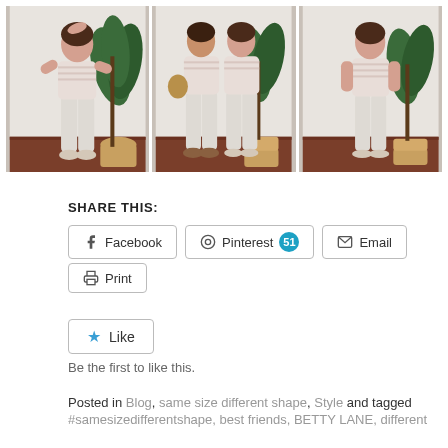[Figure (photo): Three photos of two women wearing matching white/cream trousers and striped tops, posed against a white wall with a large green leafy plant and wooden floor. Left photo: one woman posing with hand on head. Center photo: two women standing together, one holding a wicker bag. Right photo: one woman standing with hands at sides.]
SHARE THIS:
Facebook  Pinterest 51  Email  Print
Like
Be the first to like this.
Posted in Blog, same size different shape, Style and tagged #samesizedifferentshape, best friends, BETTY LANE, different